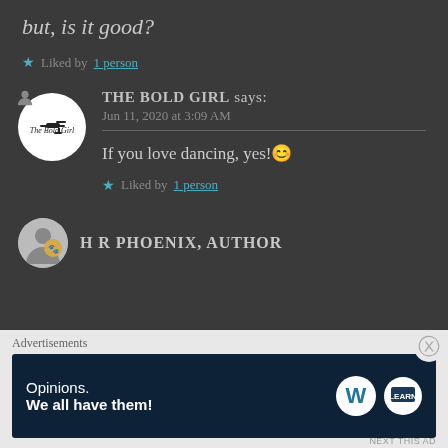but, is it good?
★ Liked by 1 person
THE BOLD GIRL says:
Jun 11, 2020 at 3:09 AM
If you love dancing, yes!😊
★ Liked by 1 person
H R PHOENIX, AUTHOR
Advertisements
Opinions.
We all have them!